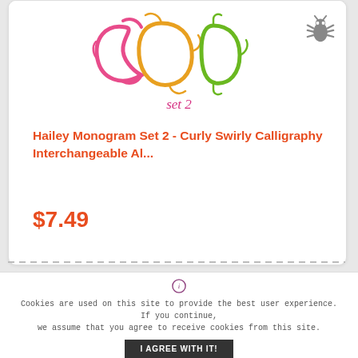[Figure (illustration): Decorative curly swirly calligraphy monogram letters in pink, orange, green, and yellow colors. Below the letters it says 'set 2' in pink script, with a small watermark '@udeertegun'. A bug/debug icon is in the top right corner.]
Hailey Monogram Set 2 - Curly Swirly Calligraphy Interchangeable Al...
$7.49
Cookies are used on this site to provide the best user experience. If you continue, we assume that you agree to receive cookies from this site.
I AGREE WITH IT!